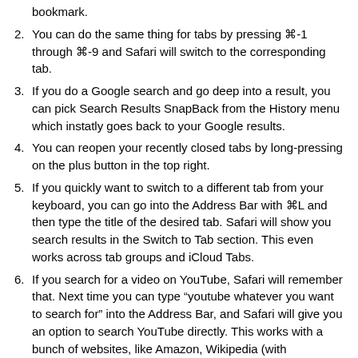bookmark.
You can do the same thing for tabs by pressing ⌘-1 through ⌘-9 and Safari will switch to the corresponding tab.
If you do a Google search and go deep into a result, you can pick Search Results SnapBack from the History menu which instatly goes back to your Google results.
You can reopen your recently closed tabs by long-pressing on the plus button in the top right.
If you quickly want to switch to a different tab from your keyboard, you can go into the Address Bar with ⌘L and then type the title of the desired tab. Safari will show you search results in the Switch to Tab section. This even works across tab groups and iCloud Tabs.
If you search for a video on YouTube, Safari will remember that. Next time you can type "youtube whatever you want to search for" into the Address Bar, and Safari will give you an option to search YouTube directly. This works with a bunch of websites, like Amazon, Wikipedia (with autocomplete) DuckDuckGo (with autocomplete).